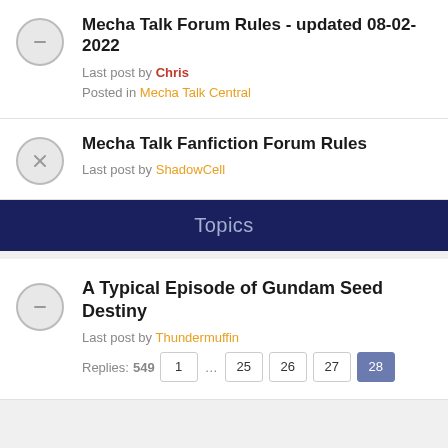Mecha Talk Forum Rules - updated 08-02-2022
Last post by Chris
Posted in Mecha Talk Central
Mecha Talk Fanfiction Forum Rules
Last post by ShadowCell
Topics
A Typical Episode of Gundam Seed Destiny
Last post by Thundermuffin
Replies: 549
Pages: 1 ... 25 26 27 28